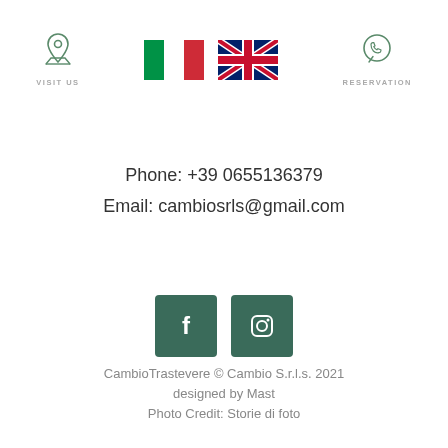[Figure (infographic): Top navigation bar with location pin icon and VISIT US label on the left, Italian and UK flag icons in the center, WhatsApp phone icon and RESERVATION label on the right]
Phone: +39 0655136379
Email: cambiosrls@gmail.com
[Figure (infographic): Two dark green square social media buttons: Facebook (f icon) and Instagram (camera icon)]
CambioTrastevere © Cambio S.r.l.s. 2021
designed by Mast
Photo Credit: Storie di foto